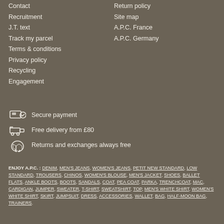Contact
Recruitment
J.T. text
Track my parcel
Terms & conditions
Privacy policy
Recycling
Engagement
Return policy
Site map
A.P.C. France
A.P.C. Germany
Secure payment
Free delivery from £80
Returns and exchanges always free
ENJOY A.P.C. : DENIM, MEN'S JEANS, WOMEN'S JEANS, PETIT NEW STANDARD, LOW STANDARD, TROUSERS, CHINOS, WOMEN'S BLOUSE, MEN'S JACKET, SHOES, BALLET FLATS, ANKLE BOOTS, BOOTS, SANDALS, COAT, PEA COAT, PARKA, TRENCHCOAT, MAC, CARDIGAN, JUMPER, SWEATER, T-SHIRT, SWEATSHIRT, TOP, MEN'S WHITE SHIRT, WOMEN'S WHITE SHIRT, SKIRT, JUMPSUIT, DRESS, ACCESSORIES, WALLET, BAG, HALF-MOON BAG, TRAINERS.